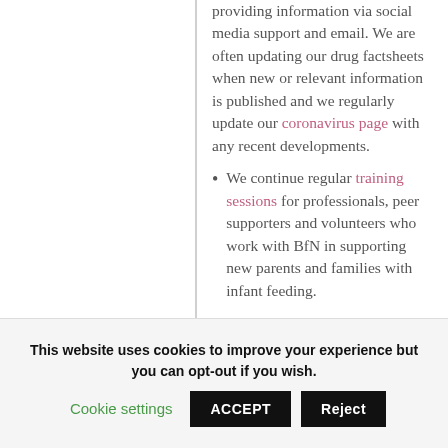providing information via social media support and email. We are often updating our drug factsheets when new or relevant information is published and we regularly update our coronavirus page with any recent developments.
We continue regular training sessions for professionals, peer supporters and volunteers who work with BfN in supporting new parents and families with infant feeding.
Supporting and developing relationships both local and
This website uses cookies to improve your experience but you can opt-out if you wish.